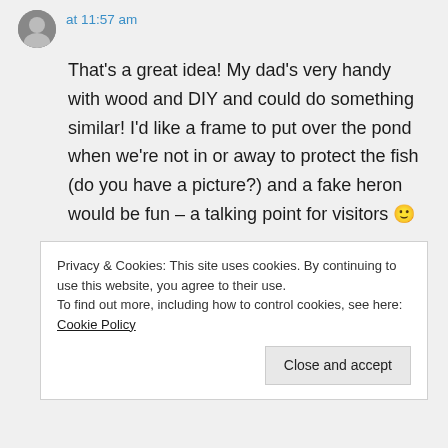at 11:57 am
That's a great idea! My dad's very handy with wood and DIY and could do something similar! I'd like a frame to put over the pond when we're not in or away to protect the fish (do you have a picture?) and a fake heron would be fun – a talking point for visitors 🙂
Privacy & Cookies: This site uses cookies. By continuing to use this website, you agree to their use. To find out more, including how to control cookies, see here: Cookie Policy
Close and accept